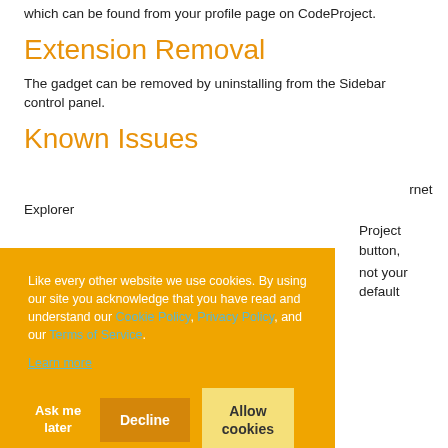which can be found from your profile page on CodeProject.
Extension Removal
The gadget can be removed by uninstalling from the Sidebar control panel.
Known Issues
...rnet Explorer ...Project button, ...not your default
Like every other website we use cookies. By using our site you acknowledge that you have read and understand our Cookie Policy, Privacy Policy, and our Terms of Service. Learn more
Ask me later | Decline | Allow cookies
MSDN SideBar Gadget Development